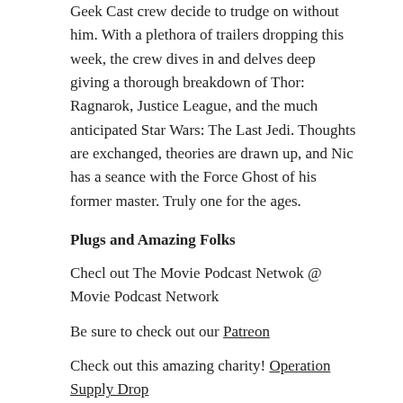Geek Cast crew decide to trudge on without him. With a plethora of trailers dropping this week, the crew dives in and delves deep giving a thorough breakdown of Thor: Ragnarok, Justice League, and the much anticipated Star Wars: The Last Jedi. Thoughts are exchanged, theories are drawn up, and Nic has a seance with the Force Ghost of his former master. Truly one for the ages.
Plugs and Amazing Folks
Checl out The Movie Podcast Netwok @ Movie Podcast Network
Be sure to check out our Patreon
Check out this amazing charity! Operation Supply Drop
Follow their twitter: @OperationSupplyDrop